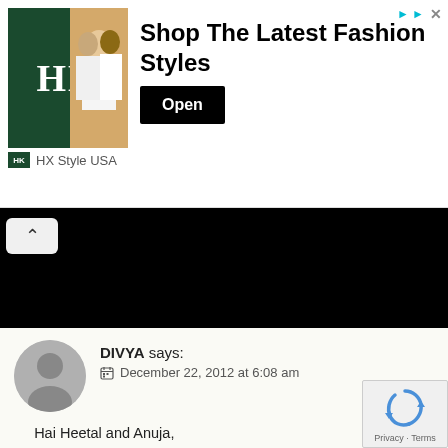[Figure (photo): Advertisement banner for HX Style USA showing fashion brand logo and people in white clothing, with 'Shop The Latest Fashion Styles' headline and 'Open' button]
[Figure (photo): Black image area representing a partially loaded or dark video/image content area with a back navigation button]
DIVYA says:
December 22, 2012 at 6:08 am
Hai Heetal and Anuja,
I have been following your website for almost 3 years, the quality of the pictures were far better in the beginning, but the quality is no more the same, please try to maintain the same quality of the pictures as they were before, this is a gentle suggestion, please don't take it otherwise.